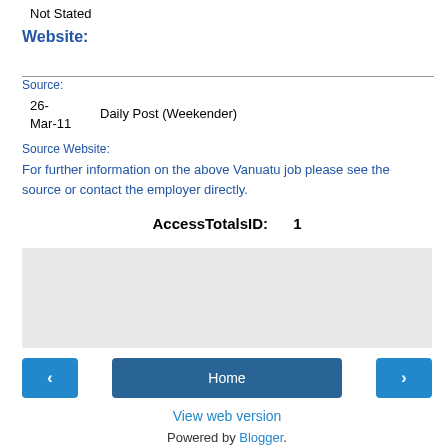Not Stated
Website:
Source:
26-Mar-11    Daily Post (Weekender)
Source Website:
For further information on the above Vanuatu job please see the source or contact the employer directly.
AccessTotalsID:    1
[Figure (other): Share button widget area with light grey background and a Share button]
< Home >
View web version
Powered by Blogger.